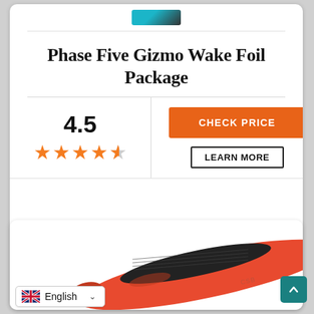[Figure (photo): Partial view of a water sports product (wake foil/board) at the very top of the page, teal/black color]
Phase Five Gizmo Wake Foil Package
4.5 rating with 4.5 out of 5 stars
CHECK PRICE
LEARN MORE
[Figure (photo): Orange and black wakeboard/wake foil board shown at an angle, bottom card]
English